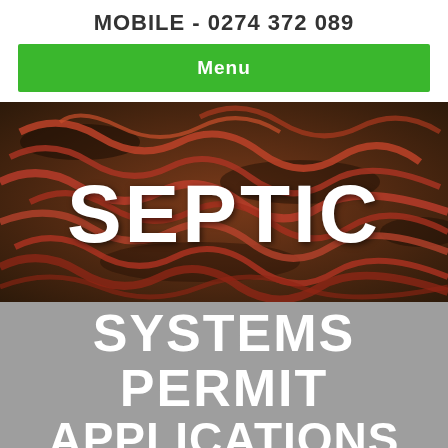MOBILE - 0274 372 089
Menu
[Figure (photo): Close-up photo of red earthworms in dark soil, used as a hero background image with the text 'SEPTIC' overlaid in large white bold letters.]
SEPTIC SYSTEMS PERMIT APPLICATIONS